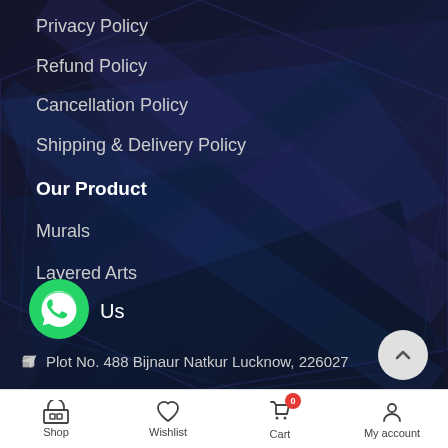Privacy Policy
Refund Policy
Cancellation Policy
Shipping & Delivery Policy
Our Product
Murals
Layered Arts
Toys
Us
Plot No. 488 Bijnaur Natkur Lucknow, 226027
Shop | Wishlist | Cart 0 | My account